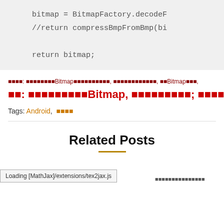bitmap = BitmapFactory.decodeF...
//return compressBmpFromBmp(bi...

return bitmap;
■■■■: ■■■■■■■■Bitmap■■■■■■■■■■■, ■■■■■■■■■■■■, ■■Bitmap■■■,
■■: ■■■■■■■■■Bitmap, ■■■■■■■■■; ■■■■■■File,
Tags: Android, ■■■■
Related Posts
Loading [MathJax]/extensions/tex2jax.js